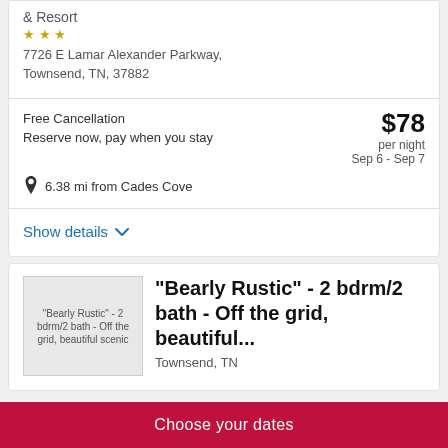& Resort
7726 E Lamar Alexander Parkway, Townsend, TN, 37882
Free Cancellation
Reserve now, pay when you stay
$78 per night
Sep 6 - Sep 7
6.38 mi from Cades Cove
Show details
"Bearly Rustic" - 2 bdrm/2 bath - Off the grid, beautiful...
Townsend, TN
Choose your dates